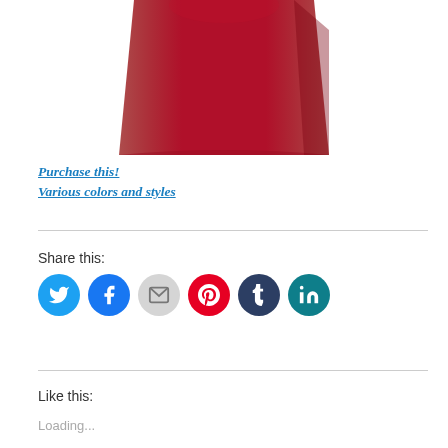[Figure (photo): Bottom portion of a crimson/dark red t-shirt product photo on white background]
Purchase this!
Various colors and styles
Share this:
[Figure (infographic): Row of social media share buttons: Twitter (blue), Facebook (blue), Email (gray), Pinterest (red), Tumblr (dark navy), LinkedIn (teal)]
Like this:
Loading...